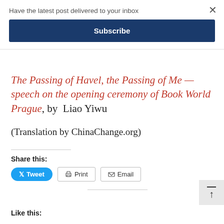Have the latest post delivered to your inbox
Subscribe
The Passing of Havel, the Passing of Me — speech on the opening ceremony of Book World Prague, by  Liao Yiwu
(Translation by ChinaChange.org)
Share this:
Tweet  Print  Email
Like this: